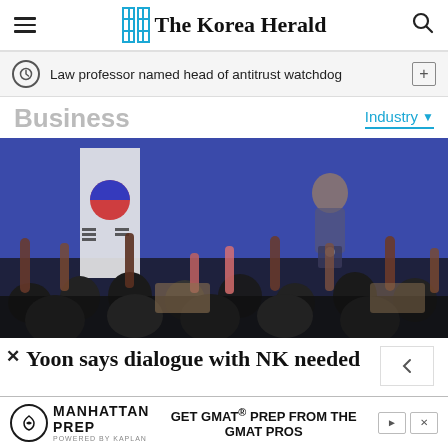The Korea Herald
Law professor named head of antitrust watchdog
Business
Industry
[Figure (photo): A press conference scene with a speaker at a podium in front of a blue background and South Korean flag, with journalists raising their hands in the foreground.]
Yoon says dialogue with NK needed
GET GMAT® PREP FROM THE GMAT PROS